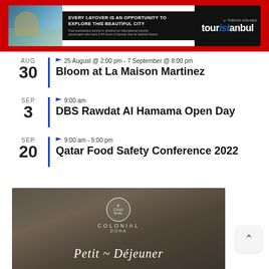[Figure (illustration): Turkish Airlines touristanbul advertisement banner on red background. Shows Istanbul cityscape photo on left, dark background with 'EVERY LAYOVER IS AN OPPORTUNITY TO EXPLORE THIS BEAUTIFUL CITY' headline in center, and 'touristanbul' logo on right.]
AUG 30 | 25 August @ 2:00 pm - 7 September @ 8:00 pm | Bloom at La Maison Martinez
SEP 3 | 9:00 am | DBS Rawdat Al Hamama Open Day
SEP 20 | 9:00 am - 5:00 pm | Qatar Food Safety Conference 2022
View Calendar
[Figure (photo): Colonial restaurant promotional image with map texture background, circular logo with 'COLONIAL' text, and cursive script reading 'Petit Déjeuner' at the bottom.]